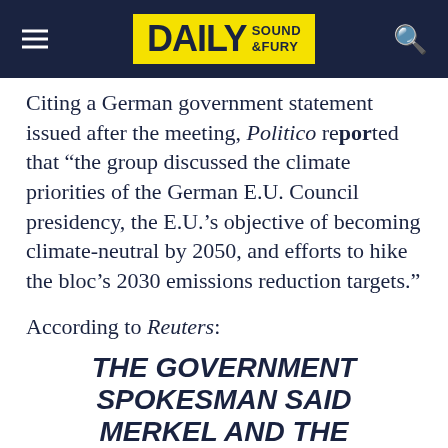DAILY SOUND & FURY
Citing a German government statement issued after the meeting, Politico reported that “the group discussed the climate priorities of the German E.U. Council presidency, the E.U.’s objective of becoming climate-neutral by 2050, and efforts to hike the bloc’s 2030 emissions reduction targets.”
According to Reuters:
THE GOVERNMENT SPOKESMAN SAID MERKEL AND THE ACTIVISTS AGREED THAT GLOBAL WARMING POSED A CHALLENGE FOR THE WORLD AND THAT INDUSTRIALIZED COUNTRIES